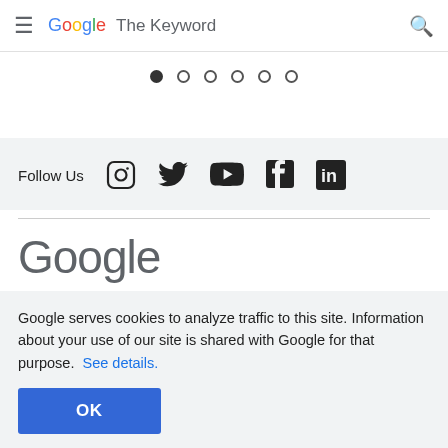Google The Keyword
[Figure (other): Carousel pagination dots: 6 dots, first filled]
Follow Us [Instagram] [Twitter] [YouTube] [Facebook] [LinkedIn]
Google
Google serves cookies to analyze traffic to this site. Information about your use of our site is shared with Google for that purpose. See details.
OK